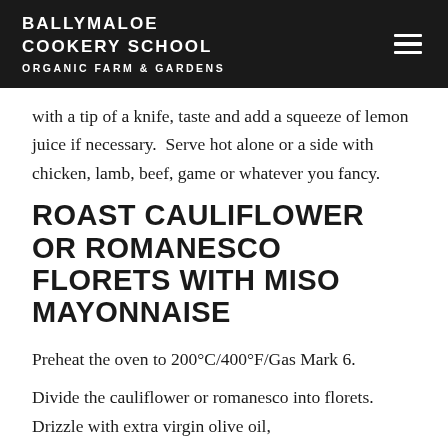BALLYMALOE COOKERY SCHOOL ORGANIC FARM & GARDENS
with a tip of a knife, taste and add a squeeze of lemon juice if necessary.  Serve hot alone or a side with chicken, lamb, beef, game or whatever you fancy.
ROAST CAULIFLOWER OR ROMANESCO FLORETS WITH MISO MAYONNAISE
Preheat the oven to 200°C/400°F/Gas Mark 6.
Divide the cauliflower or romanesco into florets. Drizzle with extra virgin olive oil,